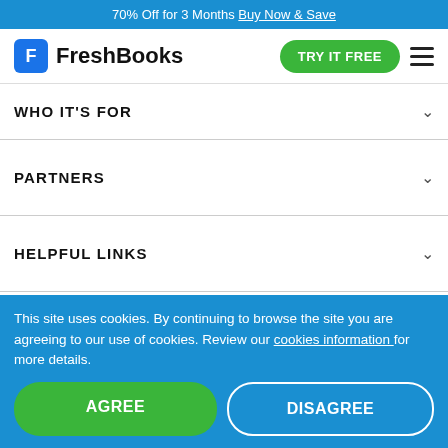70% Off for 3 Months Buy Now & Save
[Figure (logo): FreshBooks logo with blue F icon and wordmark, TRY IT FREE green button, hamburger menu]
WHO IT'S FOR
PARTNERS
HELPFUL LINKS
POLICIES
This site uses cookies. By continuing to browse the site you are agreeing to our use of cookies. Review our cookies information for more details.
AGREE
DISAGREE